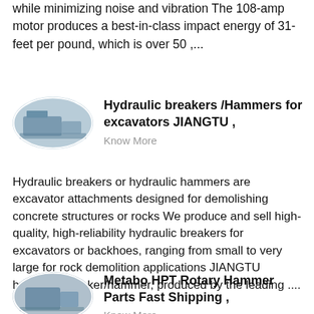while minimizing noise and vibration The 108-amp motor produces a best-in-class impact energy of 31-feet per pound, which is over 50 ,...
[Figure (photo): Oval/ellipse shaped thumbnail photo of heavy industrial machinery, likely excavators or hammers in a factory setting]
Hydraulic breakers /Hammers for excavators JIANGTU ,
Know More
Hydraulic breakers or hydraulic hammers are excavator attachments designed for demolishing concrete structures or rocks We produce and sell high-quality, high-reliability hydraulic breakers for excavators or backhoes, ranging from small to very large for rock demolition applications JIANGTU hydraulic breaker/hammer, produced by the leading ....
[Figure (photo): Oval/ellipse shaped thumbnail photo of industrial equipment or factory interior]
Metabo HPT Rotary Hammer Parts Fast Shipping ,
Know More